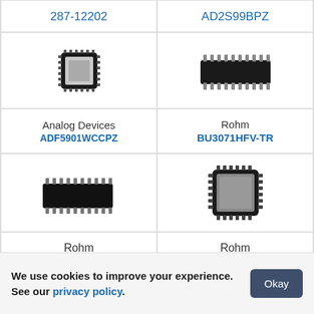287-12202
AD2S99BPZ
[Figure (photo): IC chip - QFN square package, top view, black with pads]
[Figure (photo): IC chip - SOIC wide body package, side angled view, black]
Analog Devices ADF5901WCCPZ
Rohm BU3071HFV-TR
[Figure (photo): IC chip - SOIC package, angled view, black]
[Figure (photo): IC chip - QFN square package, top view, grey/silver pads]
Rohm
Rohm
We use cookies to improve your experience. See our privacy policy.